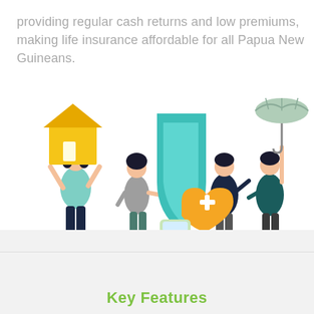providing regular cash returns and low premiums, making life insurance affordable for all Papua New Guineans.
[Figure (illustration): Group of four illustrated people holding insurance-related icons: a house, a large teal shield, an orange heart with a medical cross, and an umbrella. A small green car is in the center foreground.]
Key Features